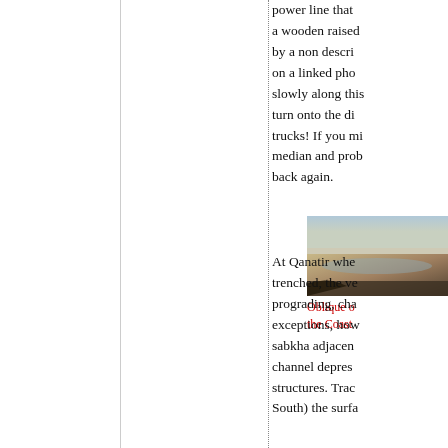power line that... a wooden raised... by a non descri... on a linked pho... slowly along this... turn onto the di... trucks! If you mi... median and prob... back again.
[Figure (photo): Oblique aerial or landscape photograph of a coastal area, showing sandy/mudflat terrain near the coast.]
Oblique o... the Coast...
At Qanatir whe... trenched, the ve... prograding, cha... exceptions, how... sabkha adjacen... channel depres... structures. Trac... South) the surfa...